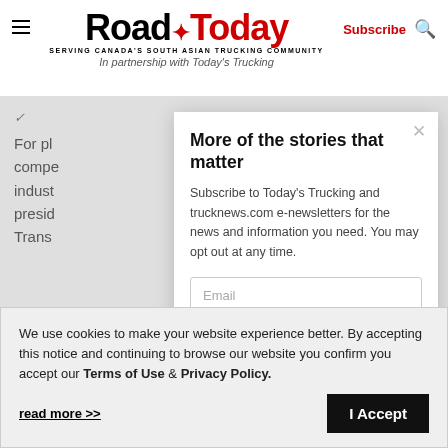Road Today — SERVING CANADA'S SOUTH ASIAN TRUCKING COMMUNITY — In partnership with Today's Trucking — Subscribe
For pl… compe… indust… presid… Trans…
More of the stories that matter
Subscribe to Today's Trucking and trucknews.com e-newsletters for the news and information you need. You may opt out at any time.
Email
We use cookies to make your website experience better. By accepting this notice and continuing to browse our website you confirm you accept our Terms of Use & Privacy Policy.
read more >>
I Accept